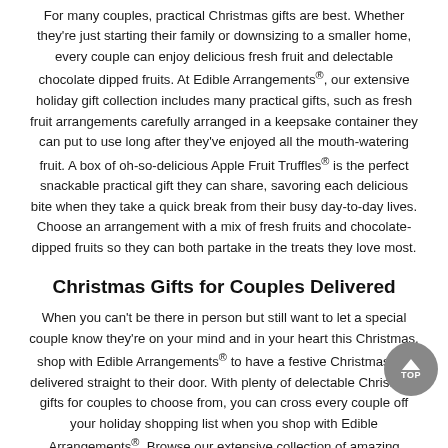For many couples, practical Christmas gifts are best. Whether they're just starting their family or downsizing to a smaller home, every couple can enjoy delicious fresh fruit and delectable chocolate dipped fruits. At Edible Arrangements®, our extensive holiday gift collection includes many practical gifts, such as fresh fruit arrangements carefully arranged in a keepsake container they can put to use long after they've enjoyed all the mouth-watering fruit. A box of oh-so-delicious Apple Fruit Truffles® is the perfect snackable practical gift they can share, savoring each delicious bite when they take a quick break from their busy day-to-day lives. Choose an arrangement with a mix of fresh fruits and chocolate-dipped fruits so they can both partake in the treats they love most.
Christmas Gifts for Couples Delivered
When you can't be there in person but still want to let a special couple know they're on your mind and in your heart this Christmas, shop with Edible Arrangements® to have a festive Christmas gift delivered straight to their door. With plenty of delectable Christmas gifts for couples to choose from, you can cross every couple off your holiday shopping list when you shop with Edible Arrangements®. Browse our extensive collection of amazing holiday gifts, choose the perfect gift, and tell us where to deliver it, and